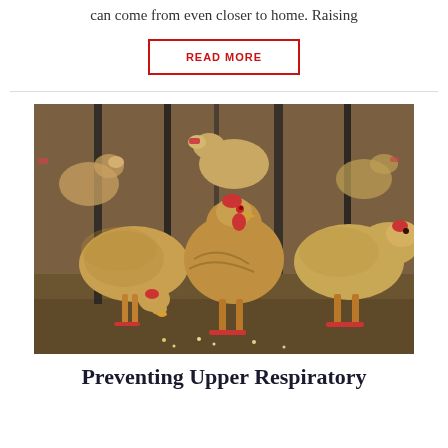can come from even closer to home. Raising
READ MORE
[Figure (photo): A flock of golden/tan chickens pecking at the ground, crowded together outdoors on dirt.]
Preventing Upper Respiratory